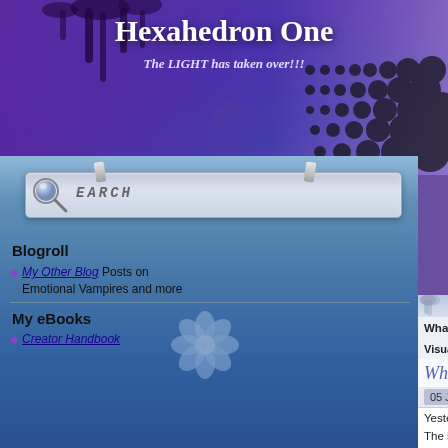Hexahedron One
The LIGHT has taken over!!!
[Figure (screenshot): Search box with magnifier icon and 'SEARCH' text, pinned to sidebar]
Blogroll
My Other Blog Posts on Emotional Vampires and more
My eBooks
Creator Handbook
What is a Right – Spinner?   Home   Blog   Transfo...
Visual Meditation   Platonic Solids   Great Year – 25...
What's Happening; a bit more det...
05 Jun 2017 | By Merln
Yesterday, I wrote about the 5% in May thru Dece...
The 5% is energy in our world (actually multiverse... Newmen and Newomen.  The 5% that we got in M...
Here's the power math; Normal Right-Spin got 20... May and another 5% in June.  So, on July 1st wo...